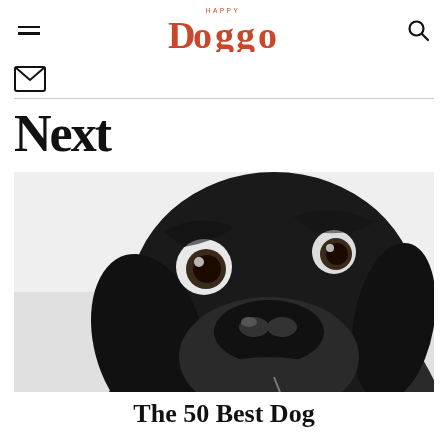Happy Doggo
[Figure (logo): Happy Doggo logo in coral/red with stylized dog face in the letter O]
[Figure (photo): Black and white close-up photograph of a dark Labrador dog looking upward with wide eyes and a curious expression]
Next
The 50 Best Dog